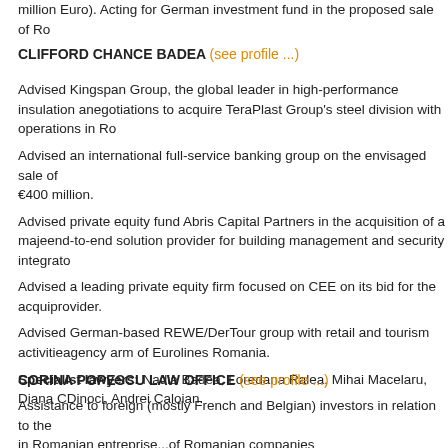million Euro). Acting for German investment fund in the proposed sale of Ro...
CLIFFORD CHANCE BADEA (see profile ...)
Advised Kingspan Group, the global leader in high-performance insulation an... negotiations to acquire TeraPlast Group's steel division with operations in Ro...
Advised an international full-service banking group on the envisaged sale of ... €400 million.
Advised private equity fund Abris Capital Partners in the acquisition of a maje... end-to-end solution provider for building management and security integrato...
Advised a leading private equity firm focused on CEE on its bid for the acqui... provider.
Advised German-based REWE/DerTour group with retail and tourism activitie... agency arm of Eurolines Romania.
Specialist lawyers: Nadia Badea, Loredana Ralea, Mihai Macelaru, Diana C... Dinoci, Andrei Caloian.
CORINA POPESCU LAW OFFICE (see profile ...)
Assistance to foreign (mostly French and Belgian) investors in relation to the... in Romanian entreprise...of Romanian companies...